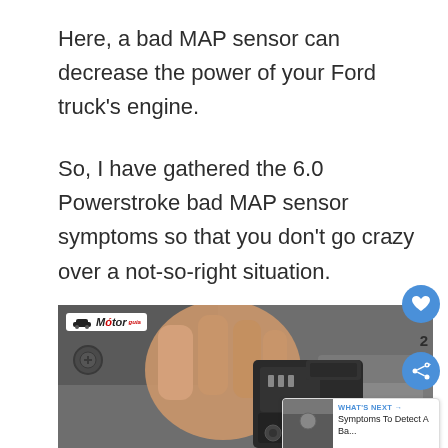Here, a bad MAP sensor can decrease the power of your Ford truck's engine.
So, I have gathered the 6.0 Powerstroke bad MAP sensor symptoms so that you don't go crazy over a not-so-right situation.
[Figure (photo): A hand holding a MAP sensor (black plastic electrical connector/sensor) with the Motor Guide logo watermark in top left. The sensor is being held up showing its connector pins. The image also shows share/like buttons on the right side and a 'What's Next' preview box.]